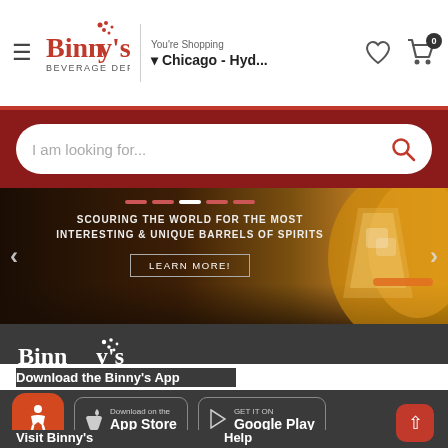[Figure (screenshot): Binny's Beverage Depot website header with hamburger menu, logo, store selector showing Chicago - Hyd..., heart icon, and cart icon with badge 0]
[Figure (screenshot): Dark red search bar with rounded white search input placeholder 'I am looking for...' and red magnifying glass icon]
[Figure (screenshot): Promotional banner with dark whiskey background, text 'SCOURING THE WORLD FOR THE MOST INTERESTING & UNIQUE BARRELS OF SPIRITS', LEARN MORE button, left and right carousel arrows]
[Figure (logo): Binny's Beverage Depot white logo on dark gray footer background]
Download the Binny's App
[Figure (screenshot): App download buttons: orange accessibility icon, Download on the App Store button, GET IT ON Google Play button]
Visit Binny's
Help